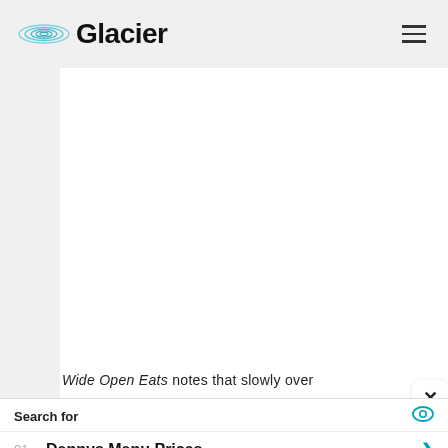Glacier
[Figure (other): White blank content area / article image placeholder]
Wide Open Eats notes that slowly over
Search for
01. Dennys Menu Prices
02. Order From Denny's
Yahoo! Search | Sponsored